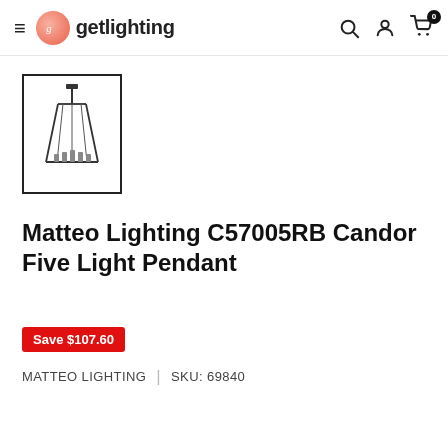getlighting
[Figure (photo): Thumbnail image of a pendant light fixture (Matteo Lighting Candor Five Light Pendant) showing a geometric wire frame shade with candelabra bulbs, black finish, in a bordered frame.]
Matteo Lighting C57005RB Candor Five Light Pendant
Save $107.60
MATTEO LIGHTING   |   SKU: 69840